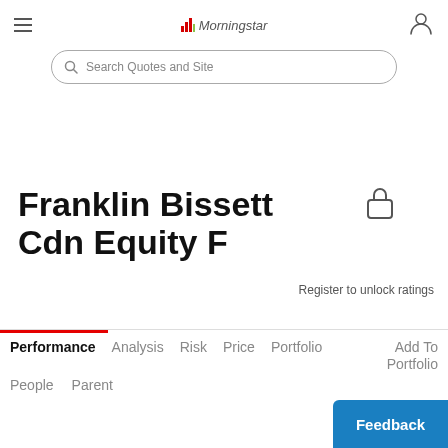Morningstar — Search Quotes and Site
Franklin Bissett Cdn Equity F
Register to unlock ratings
Performance  Analysis  Risk  Price  Portfolio  Add To Portfolio  People  Parent